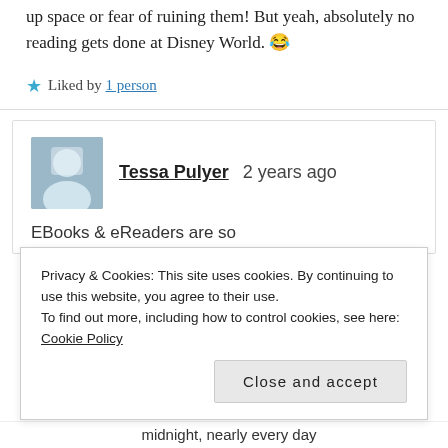up space or fear of ruining them! But yeah, absolutely no reading gets done at Disney World. 😂
★ Liked by 1 person
Tessa Pulyer   2 years ago
EBooks & eReaders are so
Privacy & Cookies: This site uses cookies. By continuing to use this website, you agree to their use. To find out more, including how to control cookies, see here: Cookie Policy
Close and accept
midnight, nearly every day